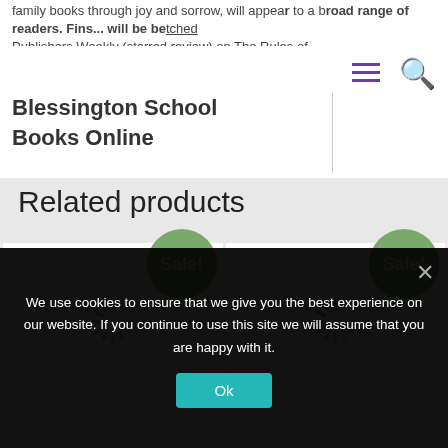family books through joy and sorrow, will appeal to a broad range of readers. Fans... will be bewitched Publishers Weekly (starred review) on The Rules of Maggie
Blessington School Books Online
Related products
[Figure (screenshot): Two product cards with Sale! badges and loading spinner icons]
We use cookies to ensure that we give you the best experience on our website. If you continue to use this site we will assume that you are happy with it.